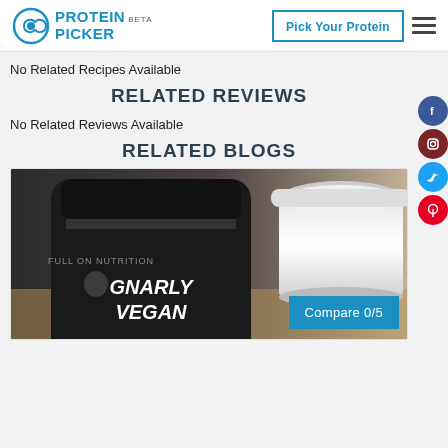Protein Picker BETA — Pick Your Protein
No Related Recipes Available
RELATED REVIEWS
No Related Reviews Available
RELATED BLOGS
[Figure (photo): A black protein powder container labeled 'Gnarly Vegan' with full-on nutrition branding, next to an open glass jar with a white cream/powder substance, on a wooden surface.]